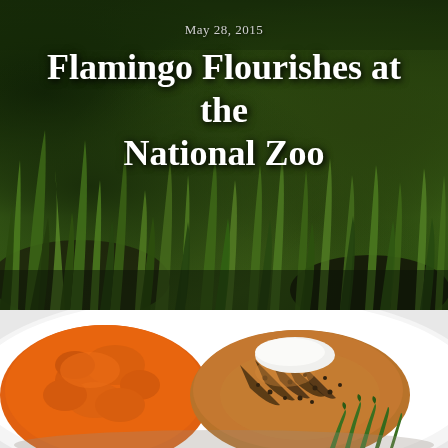[Figure (photo): Lush green grass and vegetation background with text overlay showing article date and title]
May 28, 2015
Flamingo Flourishes at the National Zoo
[Figure (photo): Food plate with mashed sweet potatoes (orange), grilled chicken breast with pepper seasoning and white sauce, and green asparagus spears on a white plate]